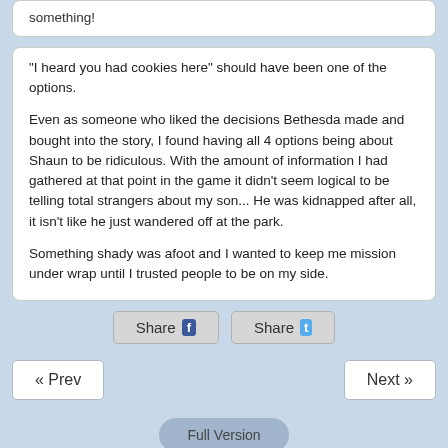something!
"I heard you had cookies here" should have been one of the options.
Even as someone who liked the decisions Bethesda made and bought into the story, I found having all 4 options being about Shaun to be ridiculous. With the amount of information I had gathered at that point in the game it didn't seem logical to be telling total strangers about my son... He was kidnapped after all, it isn't like he just wandered off at the park.
Something shady was afoot and I wanted to keep me mission under wrap until I trusted people to be on my side.
[Figure (screenshot): Share buttons for Facebook and Twitter]
« Prev   Next »
Full Version
Page loaded in: 1.226 seconds